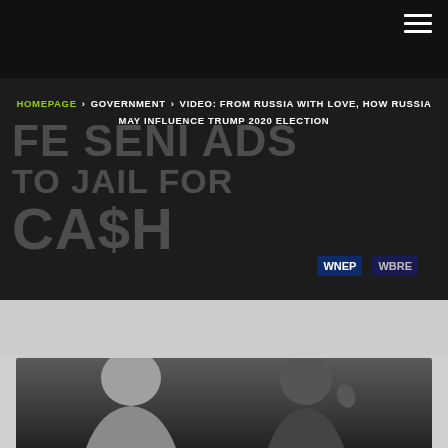≡ (hamburger menu icon)
[Figure (screenshot): Dark background with white large text resembling a news broadcast graphic about jailing for cash, WNEP news channel branding visible]
HOMEPAGE > GOVERNMENT > VIDEO: FROM RUSSIA WITH LOVE, HOW RUSSIA MAY INFLUENCE TRUMP 2020 ELECTION
[Figure (photo): Partial photo showing two people, one with light gray hair and another with dark hair, against a dark background, bottom portion of the page]